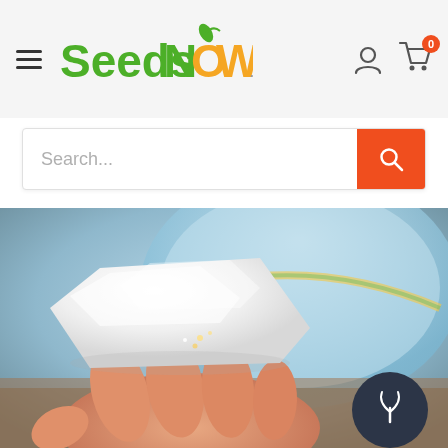SeedsNOW.com navigation header with hamburger menu, logo, user icon, and cart (0)
[Figure (screenshot): Search bar with placeholder text 'Search...' and orange search button]
[Figure (photo): Close-up photo of a hand holding a white sugar cube or salt block over a blue bowl]